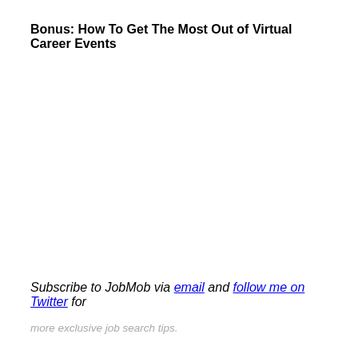Bonus: How To Get The Most Out of Virtual Career Events
Subscribe to JobMob via email and follow me on Twitter for more exclusive job search tips.